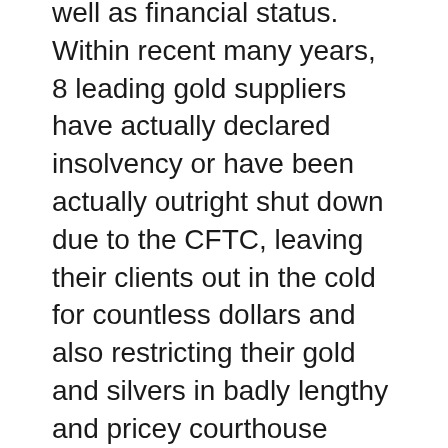well as financial status. Within recent many years, 8 leading gold suppliers have actually declared insolvency or have been actually outright shut down due to the CFTC, leaving their clients out in the cold for countless dollars and also restricting their gold and silvers in badly lengthy and pricey courthouse battles.
Goldco, having said that, shows up to engage in the ideology that putting their customers at the facility of whatever they perform in relations to giving the best feasible service is actually the only means to carry out organization, equally as it needs to be.
Our company confess that they have a